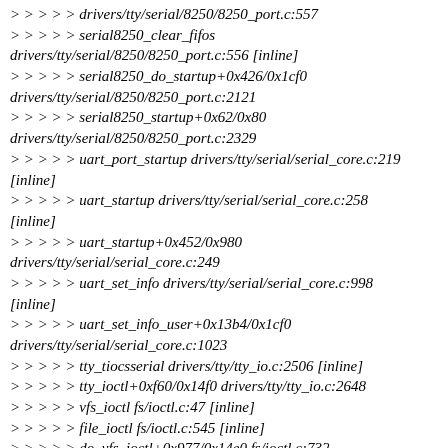> > > > > drivers/tty/serial/8250/8250_port.c:557
> > > > > serial8250_clear_fifos drivers/tty/serial/8250/8250_port.c:556 [inline]
> > > > > serial8250_do_startup+0x426/0x1cf0 drivers/tty/serial/8250/8250_port.c:2121
> > > > > serial8250_startup+0x62/0x80 drivers/tty/serial/8250/8250_port.c:2329
> > > > > uart_port_startup drivers/tty/serial/serial_core.c:219 [inline]
> > > > > uart_startup drivers/tty/serial/serial_core.c:258 [inline]
> > > > > uart_startup+0x452/0x980 drivers/tty/serial/serial_core.c:249
> > > > > uart_set_info drivers/tty/serial/serial_core.c:998 [inline]
> > > > > uart_set_info_user+0x13b4/0x1cf0 drivers/tty/serial/serial_core.c:1023
> > > > > tty_tiocsserial drivers/tty/tty_io.c:2506 [inline]
> > > > > tty_ioctl+0xf60/0x14f0 drivers/tty/tty_io.c:2648
> > > > > vfs_ioctl fs/ioctl.c:47 [inline]
> > > > > file_ioctl fs/ioctl.c:545 [inline]
> > > > > do_vfs_ioctl+0x977/0x14e0 fs/ioctl.c:732
> > > > > ksys_ioctl+0xab/0xd0 fs/ioctl.c:749
> > > > > __do_sys_ioctl fs/ioctl.c:756 [inline]
> > > > > __se_sys_ioctl fs/ioctl.c:754 [inline]
> > > > > ...+0x73/0x10 fs/ioctl.c:754